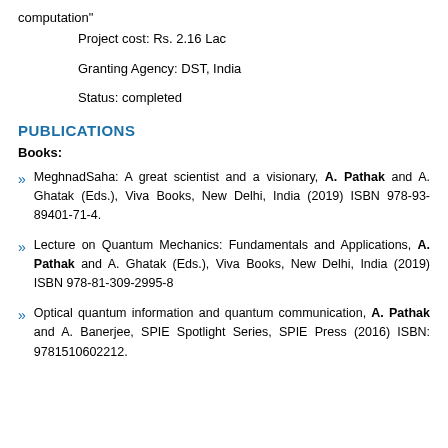computation"
Project cost: Rs. 2.16 Lac
Granting Agency: DST, India
Status: completed
PUBLICATIONS
Books:
MeghnadSaha: A great scientist and a visionary, A. Pathak and A. Ghatak (Eds.), Viva Books, New Delhi, India (2019) ISBN 978-93-89401-71-4.
Lecture on Quantum Mechanics: Fundamentals and Applications, A. Pathak and A. Ghatak (Eds.), Viva Books, New Delhi, India (2019) ISBN 978-81-309-2995-8
Optical quantum information and quantum communication, A. Pathak and A. Banerjee, SPIE Spotlight Series, SPIE Press (2016) ISBN: 9781510602212.